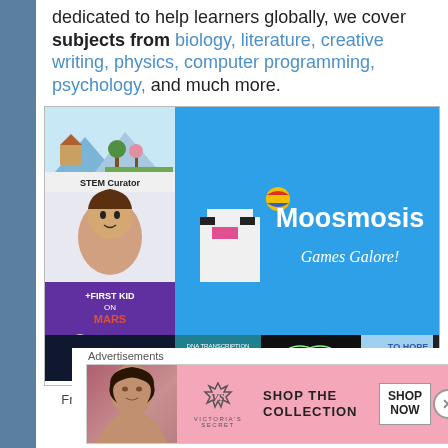dedicated to help learners globally, we cover subjects from biology, literature, creative writing, physics, computer programming, psychology, and much more.
[Figure (screenshot): Screenshot of Moosmosis educational games platform showing various game thumbnails including STEM Curator, +First Kid on Mars, DNA Transcription, and other interactive learning games. The right side shows 'Moosmosis Games Galore!' on a blue background with a pixel art character.]
From fun Harry Potter-themed science lessons to interactive e-learning games, our youth team at Moosmosis designs
Advertisements
[Figure (other): Victoria's Secret advertisement banner with model, VS logo, text 'SHOP THE COLLECTION', and 'SHOP NOW' button]